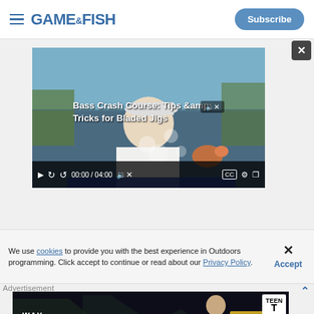GAME&FISH | Subscribe
[Figure (screenshot): Embedded video player showing a man on a boat holding a fishing lure, titled 'Bass Crash Course: Tips & Tricks for Bladed Jigs', with controls showing 00:00 / 04:00]
We use cookies to provide you with the best experience in Outdoors programming. Click accept to continue or read about our Privacy Policy.
Advertisement
[Figure (screenshot): Advertisement banner for 'Way of the Hunter' game - Buy Now! with TEEN ESRB rating]